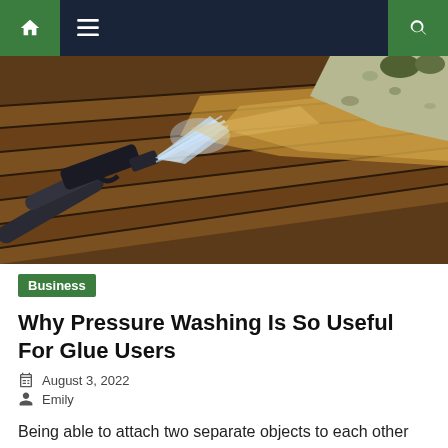Navigation bar with home, menu, and search icons
[Figure (photo): A pressure washer nozzle cleaning a wooden deck, showing water spray and clean vs dirty wood contrast. Green gravel/plants visible in the background.]
Business
Why Pressure Washing Is So Useful For Glue Users
August 3, 2022
Emily
Being able to attach two separate objects to each other used to seem like little more than a pipe dream, and it was only until we started melting animal joints to turn them into